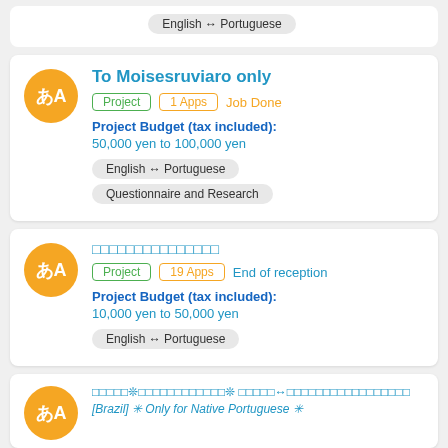English ↔ Portuguese
To Moisesruviaro only
Project | 1 Apps | Job Done
Project Budget (tax included): 50,000 yen to 100,000 yen
English ↔ Portuguese
Questionnaire and Research
□□□□□□□□□□□□□□□
Project | 19 Apps | End of reception
Project Budget (tax included): 10,000 yen to 50,000 yen
English ↔ Portuguese
□□□□□❊□□□□□□□□□□□□❊ □□□□□↔□□□□□□□□□□□□□□□□□ [Brazil] ✳ Only for Native Portuguese ✳